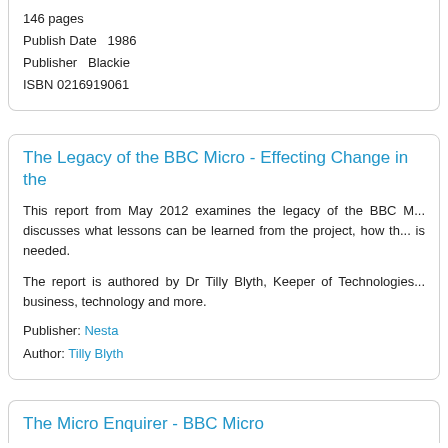146 pages
Publish Date  1986
Publisher  Blackie
ISBN 0216919061
The Legacy of the BBC Micro - Effecting Change in the
This report from May 2012 examines the legacy of the BBC M... discusses what lessons can be learned from the project, how th... is needed.
The report is authored by Dr Tilly Blyth, Keeper of Technologies... business, technology and more.
Publisher: Nesta
Author: Tilly Blyth
The Micro Enquirer - BBC Micro